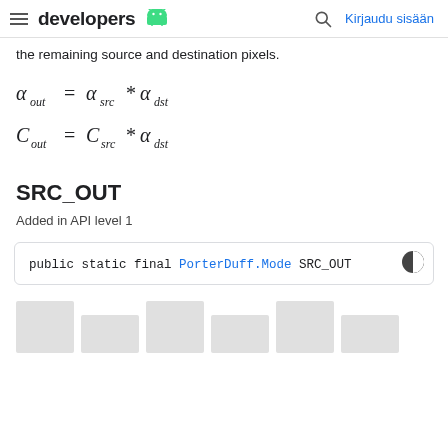developers  Kirjaudu sisään
the remaining source and destination pixels.
SRC_OUT
Added in API level 1
public static final PorterDuff.Mode SRC_OUT
[Figure (illustration): Row of gray rectangular image placeholder boxes at the bottom of the page]